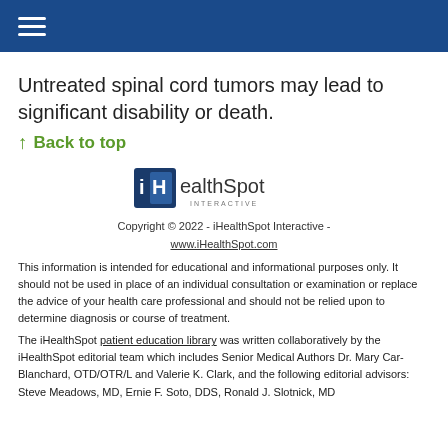≡
Untreated spinal cord tumors may lead to significant disability or death.
↑  Back to top
[Figure (logo): iHealthSpot Interactive logo with dark blue box containing 'iH' and text 'ealthSpot INTERACTIVE']
Copyright © 2022 - iHealthSpot Interactive - www.iHealthSpot.com
This information is intended for educational and informational purposes only. It should not be used in place of an individual consultation or examination or replace the advice of your health care professional and should not be relied upon to determine diagnosis or course of treatment.
The iHealthSpot patient education library was written collaboratively by the iHealthSpot editorial team which includes Senior Medical Authors Dr. Mary Car-Blanchard, OTD/OTR/L and Valerie K. Clark, and the following editorial advisors: Steve Meadows, MD, Ernie F. Soto, DDS, Ronald J. Slotnick, MD